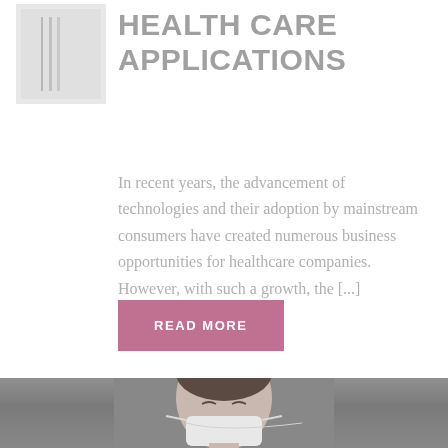[Figure (photo): Small thumbnail image placeholder with vertical lines, top-left corner]
HEALTH CARE APPLICATIONS
In recent years, the advancement of technologies and their adoption by mainstream consumers have created numerous business opportunities for healthcare companies. However, with such a growth, the [...]
READ MORE
[Figure (photo): Photo of a person wearing a medical face mask, cropped showing upper face and mask, gray background]